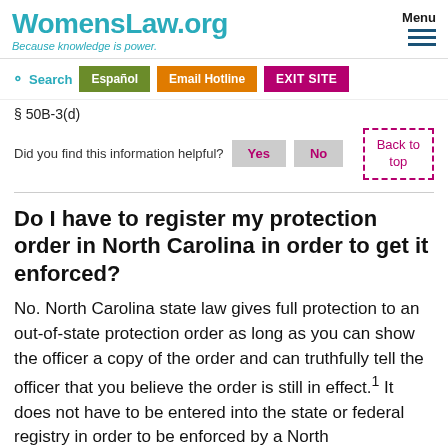WomensLaw.org — Because knowledge is power. | Menu
Search | Español | Email Hotline | EXIT SITE
§ 50B-3(d)
Did you find this information helpful? Yes No | Back to top
Do I have to register my protection order in North Carolina in order to get it enforced?
No. North Carolina state law gives full protection to an out-of-state protection order as long as you can show the officer a copy of the order and can truthfully tell the officer that you believe the order is still in effect.¹ It does not have to be entered into the state or federal registry in order to be enforced by a North